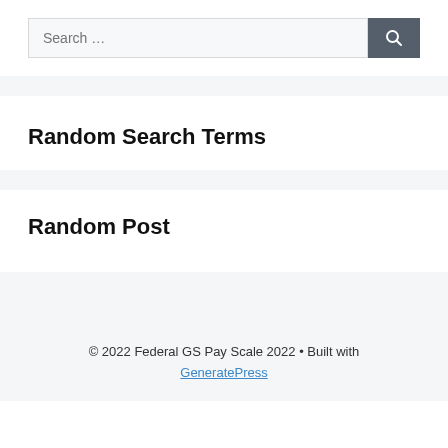[Figure (screenshot): Search bar with placeholder text 'Search ...' and a dark gray search button with a magnifying glass icon]
Random Search Terms
Random Post
© 2022 Federal GS Pay Scale 2022 • Built with GeneratePress